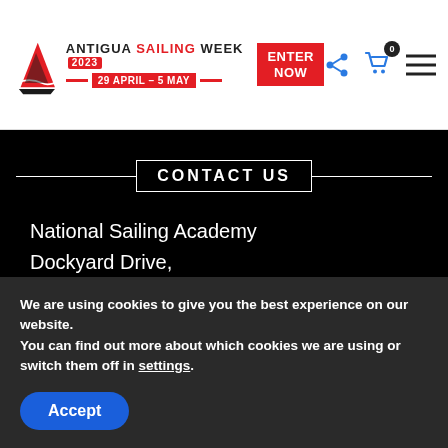[Figure (logo): Antigua Sailing Week 2023 logo with date 29 April - 5 May and Enter Now button]
CONTACT US
National Sailing Academy
Dockyard Drive,
English Harbour,
Antigua.
Tel: +1 (268) 725-6651
We are using cookies to give you the best experience on our website.
You can find out more about which cookies we are using or switch them off in settings.
Accept